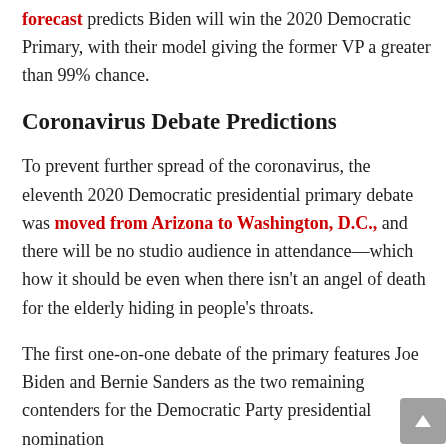forecast predicts Biden will win the 2020 Democratic Primary, with their model giving the former VP a greater than 99% chance.
Coronavirus Debate Predictions
To prevent further spread of the coronavirus, the eleventh 2020 Democratic presidential primary debate was moved from Arizona to Washington, D.C., and there will be no studio audience in attendance—which how it should be even when there isn't an angel of death for the elderly hiding in people's throats.
The first one-on-one debate of the primary features Joe Biden and Bernie Sanders as the two remaining contenders for the Democratic Party presidential nomination